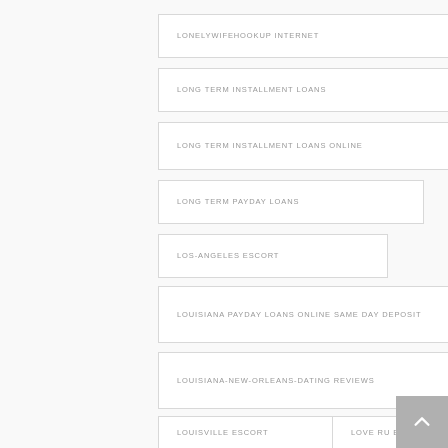LONELYWIFEHOOKUP INTERNET
LONG TERM INSTALLMENT LOANS
LONG TERM INSTALLMENT LOANS ONLINE
LONG TERM PAYDAY LOANS
LOS-ANGELES ESCORT
LOUISIANA PAYDAY LOANS ONLINE SAME DAY DEPOSIT
LOUISIANA-NEW-ORLEANS-DATING REVIEWS
LOUISVILLE ESCORT
LOVE RU ENTRAR
LOVE RU MOBILE
LOVE RU VISITORS